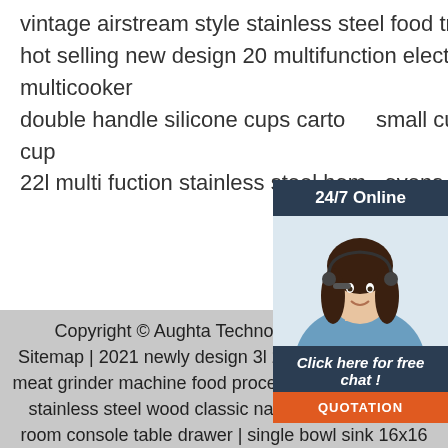vintage airstream style stainless steel food trailer food truck ready shipping
hot selling new design 20 multifunction electric multi cooker electric multicooker
double handle silicone cups cartoon small cup train drinking eco friendly straw cup
22l multi fuction stainless steel home ovens
[Figure (illustration): Customer service chat widget with woman wearing headset, 24/7 Online header, Click here for free chat CTA, and QUOTATION orange button]
Copyright © Aughta Technology (Shenzh... Sitemap | 2021 newly design 3l 2speeds plastic cup meat grinder machine food processor | contemporary stainless steel wood classic narrow hallway living room console table drawer | single bowl sink 16x16 inch kitchen stainless steel sink